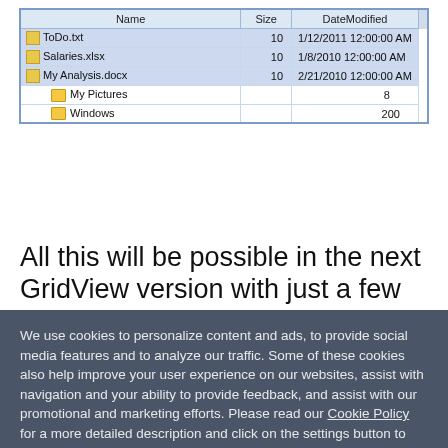[Figure (screenshot): A file manager grid/table screenshot showing columns Name, Size, DateModified with files ToDo.txt, Salaries.xlsx, My Analysis.docx (selected/highlighted), and folders My Pictures and Windows]
All this will be possible in the next GridView version with just a few lines of code. For Q1 2011 we have extended the auto-generated bi...
We use cookies to personalize content and ads, to provide social media features and to analyze our traffic. Some of these cookies also help improve your user experience on our websites, assist with navigation and your ability to provide feedback, and assist with our promotional and marketing efforts. Please read our Cookie Policy for a more detailed description and click on the settings button to customize how the site uses cookies for you.
ACCEPT COOKIES
COOKIES SETTINGS